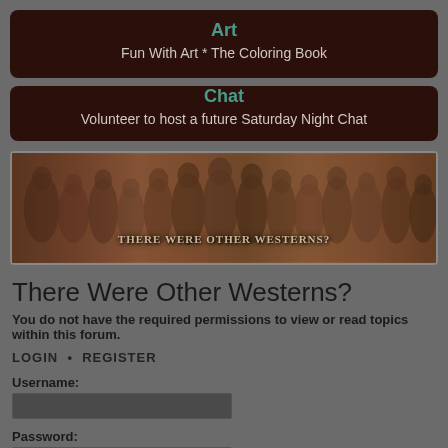Art
Fun With Art * The Coloring Book
Chat
Volunteer to host a future Saturday Night Chat
[Figure (photo): Banner image showing group of western TV show characters with text overlay 'THERE WERE OTHER WESTERNS?']
There Were Other Westerns?
You do not have the required permissions to view or read topics within this forum.
LOGIN • REGISTER
Username:
Password:
Remember me
Hide my online status this session